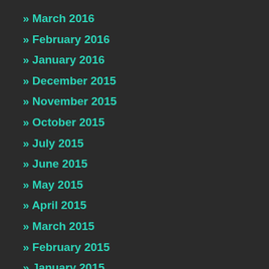» March 2016
» February 2016
» January 2016
» December 2015
» November 2015
» October 2015
» July 2015
» June 2015
» May 2015
» April 2015
» March 2015
» February 2015
» January 2015
» December 2014